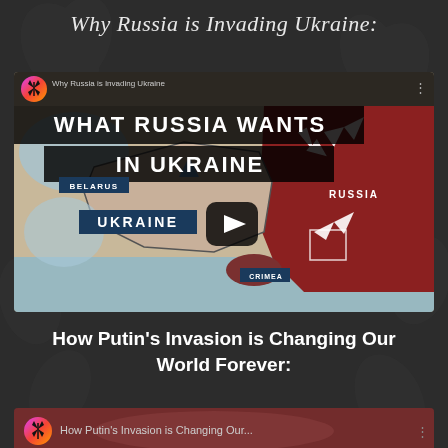Why Russia is Invading Ukraine:
[Figure (screenshot): Video thumbnail showing a map of Eastern Europe with Russia (shown in dark red), Ukraine, Belarus and Crimea labeled. White arrows indicate invasion directions. Overlay text reads 'WHAT RUSSIA WANTS IN UKRAINE'. Channel icon (windmill) and title 'Why Russia is Invading Ukraine' shown in top bar. Play button visible in center.]
How Putin's Invasion is Changing Our World Forever:
[Figure (screenshot): Partial video thumbnail at bottom showing 'How Putin's Invasion is Changing Our...' with channel windmill icon on dark red/map background.]